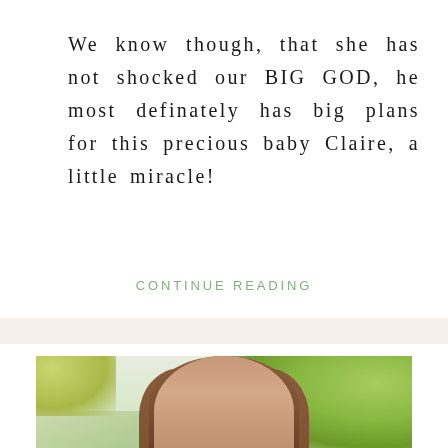We know though, that she has not shocked our BIG GOD, he most definately has big plans for this precious baby Claire, a little miracle!
CONTINUE READING
[Figure (photo): A smiling young woman with long reddish-brown hair, photographed outdoors with green foliage and bright natural light in the background.]